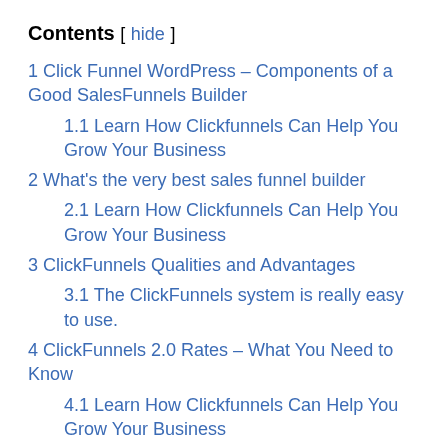Contents [ hide ]
1 Click Funnel WordPress – Components of a Good SalesFunnels Builder
1.1 Learn How Clickfunnels Can Help You Grow Your Business
2 What's the very best sales funnel builder
2.1 Learn How Clickfunnels Can Help You Grow Your Business
3 ClickFunnels Qualities and Advantages
3.1 The ClickFunnels system is really easy to use.
4 ClickFunnels 2.0 Rates – What You Need to Know
4.1 Learn How Clickfunnels Can Help You Grow Your Business